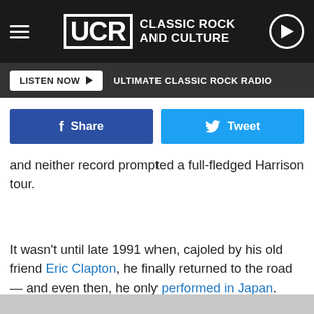UCR Classic Rock and Culture
LISTEN NOW | ULTIMATE CLASSIC ROCK RADIO
Share | Tweet
and neither record prompted a full-fledged Harrison tour.
It wasn't until late 1991 when, cajoled by his old friend Eric Clapton, he finally returned to the road — and even then, he only performed in Japan.
Clearly without a real itch to return to the stage, Harrison